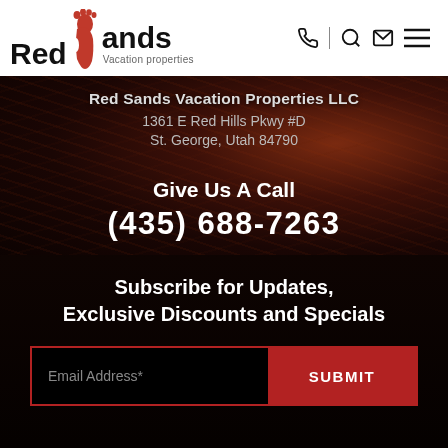[Figure (logo): Red Sands Vacation Properties logo with red footprint icon and text]
Red Sands Vacation Properties LLC
1361 E Red Hills Pkwy #D
St. George, Utah 84790
Give Us A Call
(435) 688-7263
Subscribe for Updates, Exclusive Discounts and Specials
Email Address*
SUBMIT